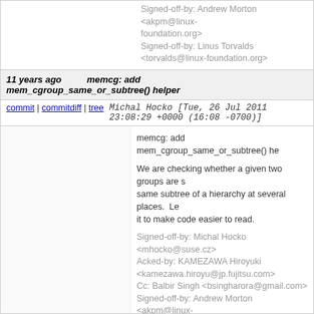Signed-off-by: Andrew Morton <akpm@linux-foundation.org>
Signed-off-by: Linus Torvalds <torvalds@linux-foundation.org>
11 years ago   memcg: add mem_cgroup_same_or_subtree() helper
commit | commitdiff | tree   Michal Hocko [Tue, 26 Jul 2011 23:08:29 +0000 (16:08 -0700)]
memcg: add mem_cgroup_same_or_subtree() he

We are checking whether a given two groups are same subtree of a hierarchy at several places. Le it to make code easier to read.
Signed-off-by: Michal Hocko <mhocko@suse.cz>
Acked-by: KAMEZAWA Hiroyuki <kamezawa.hiroyu@jp.fujitsu.com>
Cc: Balbir Singh <bsingharora@gmail.com>
Signed-off-by: Andrew Morton <akpm@linux-foundation.org>
Signed-off-by: Linus Torvalds <torvalds@linux-foundation.org>
11 years ago   memcg: unify sync and async per-cpu charge cache draining
commit | commitdiff | tree   Michal Hocko [Tue, 26 Jul 2011